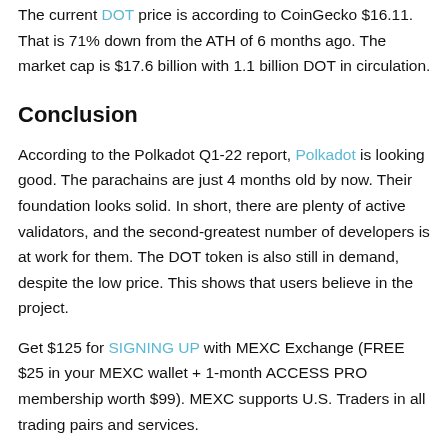The current DOT price is according to CoinGecko $16.11. That is 71% down from the ATH of 6 months ago. The market cap is $17.6 billion with 1.1 billion DOT in circulation.
Conclusion
According to the Polkadot Q1-22 report, Polkadot is looking good. The parachains are just 4 months old by now. Their foundation looks solid. In short, there are plenty of active validators, and the second-greatest number of developers is at work for them. The DOT token is also still in demand, despite the low price. This shows that users believe in the project.
Get $125 for SIGNING UP with MEXC Exchange (FREE $25 in your MEXC wallet + 1-month ACCESS PRO membership worth $99). MEXC supports U.S. Traders in all trading pairs and services.
(To get your ALTCOIN BUZZ ACCESS PRO membership, DM